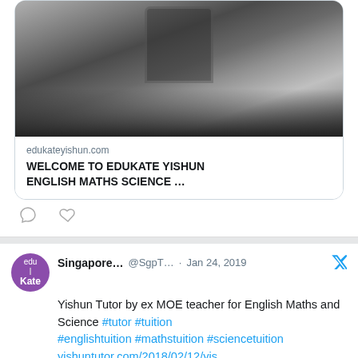[Figure (photo): Black and white photo of a person standing in front of a large stone building with a driveway, shown in a Twitter link preview card]
edukateyishun.com
WELCOME TO EDUKATE YISHUN ENGLISH MATHS SCIENCE …
[Figure (illustration): Comment icon and heart/like icon below tweet card]
[Figure (photo): Avatar circle with edu|Kate logo (purple background, white text)]
Singapore... @SgpT... · Jan 24, 2019
Yishun Tutor by ex MOE teacher for English Maths and Science #tutor #tuition #englishtuition #mathstuition #sciencetuition yishuntutor.com/2018/02/12/yis…
[Figure (photo): Classroom photo showing a person at a whiteboard with writing, partially visible]